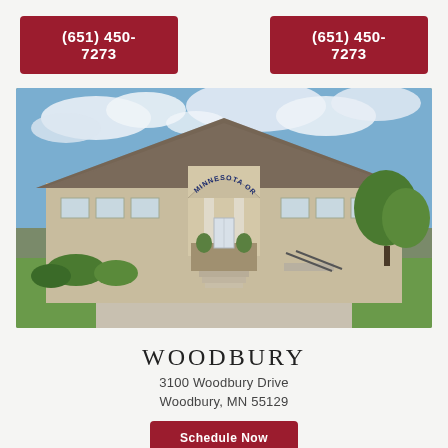(651) 450-7273
(651) 450-7273
[Figure (photo): Exterior photo of Minnesota Orthodontics office building in Woodbury — a single-story beige/tan building with a prominent arched entrance, columns, stone base, glass double doors, shingle roof, surrounded by green lawn and trees under a partly cloudy sky.]
WOODBURY
3100 Woodbury Drive
Woodbury, MN 55129
Schedule Now